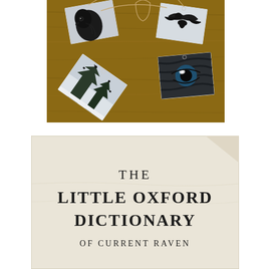[Figure (photo): Four gift tags with black-and-white raven photographs laid on a wooden surface. Tags show: a raven head close-up, a raven in flight, a raven eye close-up, and a winter scene with ravens in trees. Tags are connected with natural twine.]
[Figure (photo): Close-up photo of an open book page showing the title page text: THE LITTLE OXFORD DICTIONARY OF CURRENT RAVEN, printed in serif type on aged white paper.]